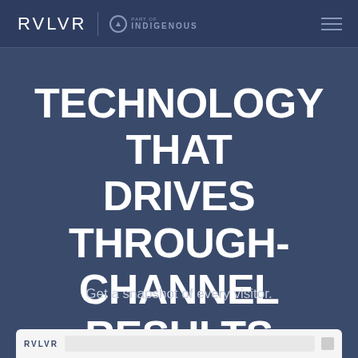RVLVR | INDIGENOUS
TECHNOLOGY THAT DRIVES THROUGH-CHANNEL RESULTS
Get a snapshot of every visitor.
[Figure (screenshot): Bottom preview bar showing RVLVR interface with search bar]